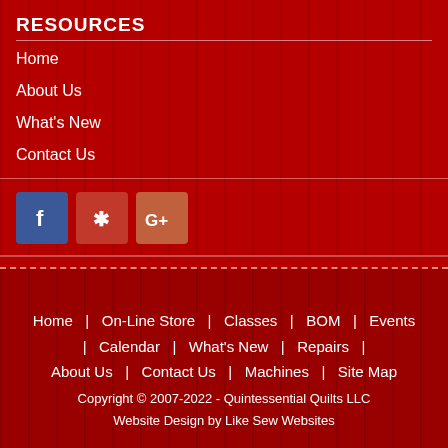RESOURCES
Home
About Us
What's New
Contact Us
[Figure (other): Social media icons: Facebook (blue), Yelp (red), Google+ (orange-red)]
Home | On-Line Store | Classes | BOM | Events | Calendar | What's New | Repairs | About Us | Contact Us | Machines | Site Map
Copyright © 2007-2022 - Quintessential Quilts LLC
Website Design by Like Sew Websites